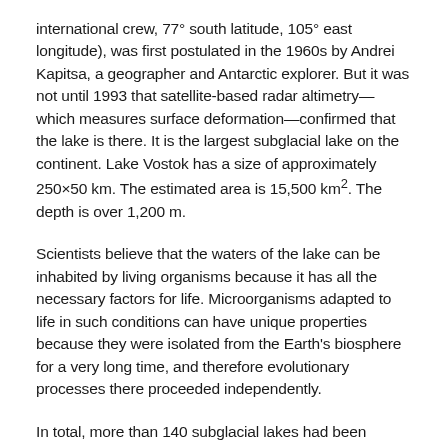international crew, 77° south latitude, 105° east longitude), was first postulated in the 1960s by Andrei Kapitsa, a geographer and Antarctic explorer. But it was not until 1993 that satellite-based radar altimetry—which measures surface deformation—confirmed that the lake is there. It is the largest subglacial lake on the continent. Lake Vostok has a size of approximately 250×50 km. The estimated area is 15,500 km². The depth is over 1,200 m.
Scientists believe that the waters of the lake can be inhabited by living organisms because it has all the necessary factors for life. Microorganisms adapted to life in such conditions can have unique properties because they were isolated from the Earth's biosphere for a very long time, and therefore evolutionary processes there proceeded independently.
In total, more than 140 subglacial lakes had been discovered in the Antarctic as to 2007.